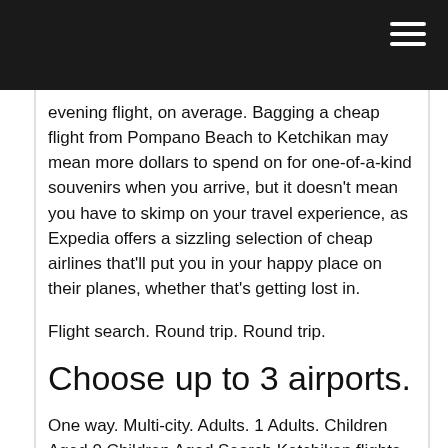[navigation bar with hamburger menu]
evening flight, on average. Bagging a cheap flight from Pompano Beach to Ketchikan may mean more dollars to spend on for one-of-a-kind souvenirs when you arrive, but it doesn't mean you have to skimp on your travel experience, as Expedia offers a sizzling selection of cheap airlines that'll put you in your happy place on their planes, whether that's getting lost in.
Flight search. Round trip. Round trip.
Choose up to 3 airports.
One way. Multi-city. Adults. 1 Adults. Children Aged 0 Children Aged Search Ketchikan flights on KAYAK. Find cheap tickets to Ketchikan from Houston. KAYAK searches hundreds of travel sites to help you find cheap airfare and book the flight that suits